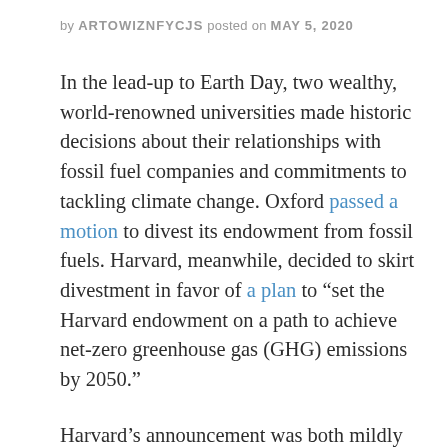by ARTOWIZNFYCJS posted on MAY 5, 2020
In the lead-up to Earth Day, two wealthy, world-renowned universities made historic decisions about their relationships with fossil fuel companies and commitments to tackling climate change. Oxford passed a motion to divest its endowment from fossil fuels. Harvard, meanwhile, decided to skirt divestment in favor of a plan to “set the Harvard endowment on a path to achieve net-zero greenhouse gas (GHG) emissions by 2050.”
Harvard’s announcement was both mildly celebrated and highly criticized by divestment advocates on campus and beyond, who have put increased pressure on the administration to divest over the last six months. In November, student activists joined their counterparts at Yale to storm the field in protest at the annual Harvard-